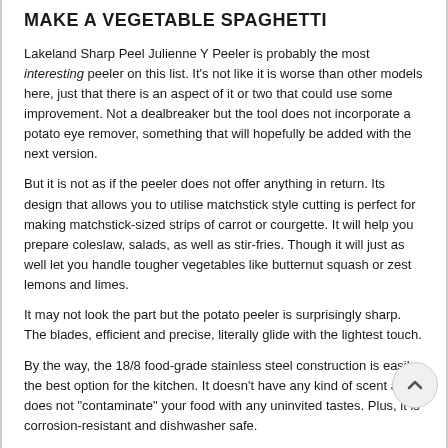MAKE A VEGETABLE SPAGHETTI
Lakeland Sharp Peel Julienne Y Peeler is probably the most interesting peeler on this list. It's not like it is worse than other models here, just that there is an aspect of it or two that could use some improvement. Not a dealbreaker but the tool does not incorporate a potato eye remover, something that will hopefully be added with the next version.
But it is not as if the peeler does not offer anything in return. Its design that allows you to utilise matchstick style cutting is perfect for making matchstick-sized strips of carrot or courgette. It will help you prepare coleslaw, salads, as well as stir-fries. Though it will just as well let you handle tougher vegetables like butternut squash or zest lemons and limes.
It may not look the part but the potato peeler is surprisingly sharp. The blades, efficient and precise, literally glide with the lightest touch.
By the way, the 18/8 food-grade stainless steel construction is easily the best option for the kitchen. It doesn't have any kind of scent and does not "contaminate" your food with any uninvited tastes. Plus, it is corrosion-resistant and dishwasher safe.
Taking all of the above into account, we would recommend Lakeland Sharp Peel Julienne Y Peeler to people who love